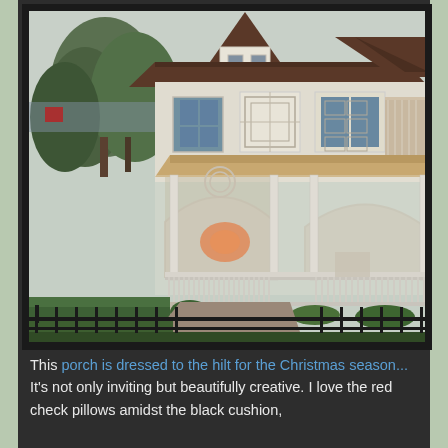[Figure (photo): Victorian house with ornate white porch featuring decorative arches and railings, a turret, dark shingled roof, surrounded by trees and lawn, with an iron fence in the foreground.]
This porch is dressed to the hilt for the Christmas season... It's not only inviting but beautifully creative. I love the red check pillows amidst the black cushion,